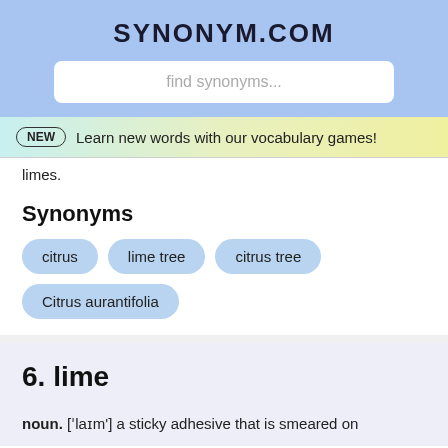SYNONYM.COM
find synonyms...
NEW  Learn new words with our vocabulary games!
limes.
Synonyms
citrus
lime tree
citrus tree
Citrus aurantifolia
6. lime
noun. ["laɪm'] a sticky adhesive that is smeared on